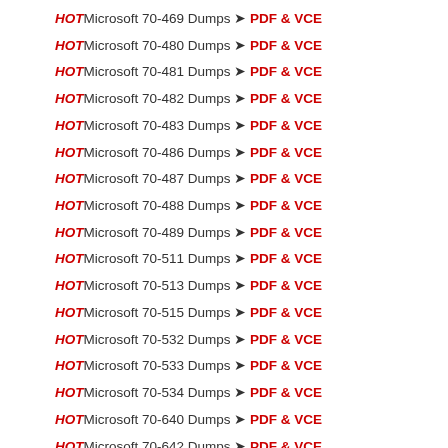HOT Microsoft 70-469 Dumps ➤ PDF & VCE
HOT Microsoft 70-480 Dumps ➤ PDF & VCE
HOT Microsoft 70-481 Dumps ➤ PDF & VCE
HOT Microsoft 70-482 Dumps ➤ PDF & VCE
HOT Microsoft 70-483 Dumps ➤ PDF & VCE
HOT Microsoft 70-486 Dumps ➤ PDF & VCE
HOT Microsoft 70-487 Dumps ➤ PDF & VCE
HOT Microsoft 70-488 Dumps ➤ PDF & VCE
HOT Microsoft 70-489 Dumps ➤ PDF & VCE
HOT Microsoft 70-511 Dumps ➤ PDF & VCE
HOT Microsoft 70-513 Dumps ➤ PDF & VCE
HOT Microsoft 70-515 Dumps ➤ PDF & VCE
HOT Microsoft 70-532 Dumps ➤ PDF & VCE
HOT Microsoft 70-533 Dumps ➤ PDF & VCE
HOT Microsoft 70-534 Dumps ➤ PDF & VCE
HOT Microsoft 70-640 Dumps ➤ PDF & VCE
HOT Microsoft 70-642 Dumps ➤ PDF & VCE
HOT Microsoft 70-646 Dumps ➤ PDF & VCE
HOT Microsoft 70-687 Dumps ➤ PDF & VCE
HOT Microsoft 70-688 Dumps ➤ PDF & VCE
HOT Microsoft 70-689 Dumps ➤ PDF & VCE